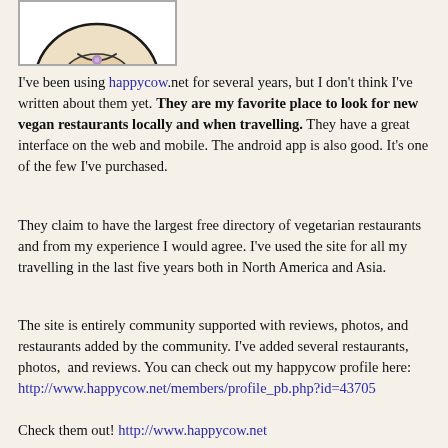[Figure (illustration): Partial view of a cartoon cow face illustration (HappyCow mascot) — cream/beige colored face with a smile, bottom portion visible in a white bordered box]
I've been using happycow.net for several years, but I don't think I've written about them yet. They are my favorite place to look for new vegan restaurants locally and when travelling. They have a great interface on the web and mobile. The android app is also good. It's one of the few I've purchased.
They claim to have the largest free directory of vegetarian restaurants and from my experience I would agree. I've used the site for all my travelling in the last five years both in North America and Asia.
The site is entirely community supported with reviews, photos, and restaurants added by the community. I've added several restaurants, photos,  and reviews. You can check out my happycow profile here: http://www.happycow.net/members/profile_pb.php?id=43705
Check them out! http://www.happycow.net